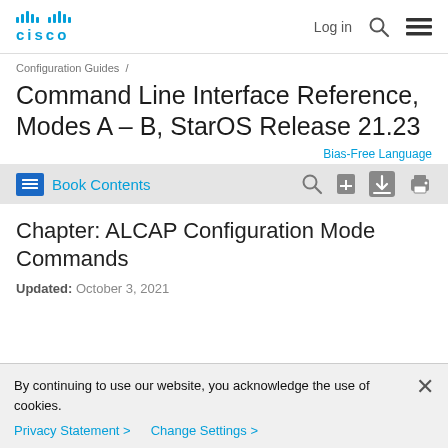Cisco | Log in | Search | Menu
Configuration Guides /
Command Line Interface Reference, Modes A – B, StarOS Release 21.23
Bias-Free Language
Book Contents
Chapter: ALCAP Configuration Mode Commands
Updated: October 3, 2021
By continuing to use our website, you acknowledge the use of cookies.
Privacy Statement > Change Settings >